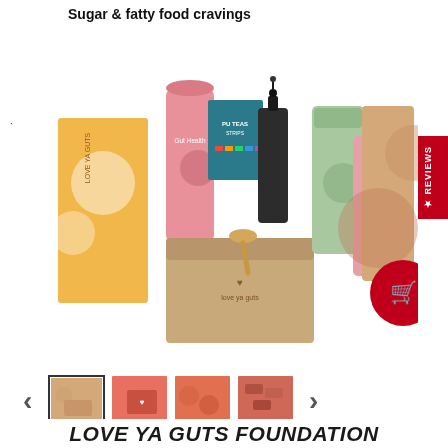Sugar & fatty food cravings
[Figure (photo): Product flatlay showing Love Ya Guts Foundation kit with various supplement pouches, tubes, bottles, and a branded box with a heart logo on a white background]
[Figure (photo): Thumbnail gallery showing 4 product images: main flatlay (selected), open box on coral background, scattered products overhead, and close-up of packaging]
LOVE YA GUTS FOUNDATION